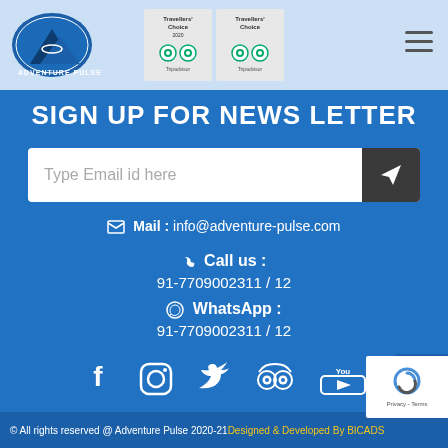[Figure (screenshot): Website header with Adventure Pulse logo and Tripadvisor Travellers Choice badges]
SIGN UP FOR NEWS LETTER
Type Email id here [email input with send button]
Mail : info@adventure-pulse.com
Call us : 91-7709002311 / 12
WhatsApp : 91-7709002311 / 12
[Figure (infographic): Social media icons: Facebook, Instagram, Twitter, Tripadvisor, YouTube]
© All rights reserved @ Adventure Pulse 2020-21 Designed & Developed By BICADS